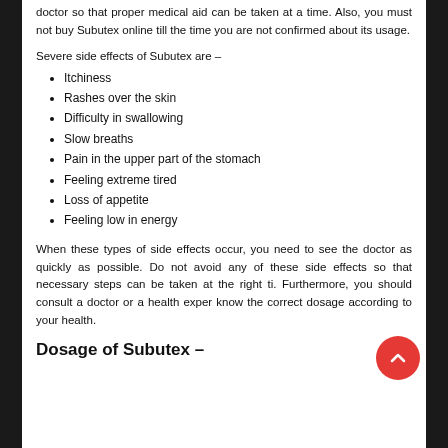doctor so that proper medical aid can be taken at a time. Also, you must not buy Subutex online till the time you are not confirmed about its usage.
Severe side effects of Subutex are –
Itchiness
Rashes over the skin
Difficulty in swallowing
Slow breaths
Pain in the upper part of the stomach
Feeling extreme tired
Loss of appetite
Feeling low in energy
When these types of side effects occur, you need to see the doctor as quickly as possible. Do not avoid any of these side effects so that necessary steps can be taken at the right ti... Furthermore, you should consult a doctor or a health exper... know the correct dosage according to your health.
Dosage of Subutex –